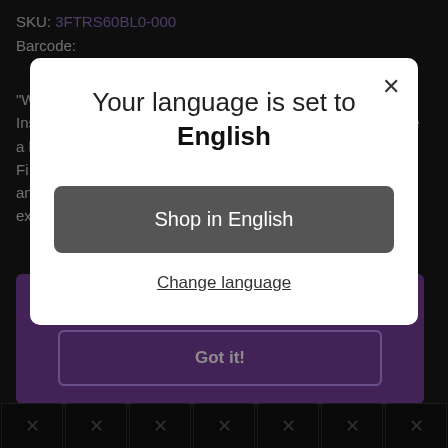SKU: 3FTRS60BL0-000
Barcode:
"When I look into your eyes, I tend to lose my thoughts." Inspired by your natural iris, Matte cold blue contacts provide a high sta... Fi... an... s ex...
[Figure (screenshot): Language selection modal dialog with title 'Your language is set to English', a dark 'Shop in English' button, and a 'Change language' underlined link. A close (X) button is in the top right corner of the modal.]
best experience on our website. Learn more
Got it!